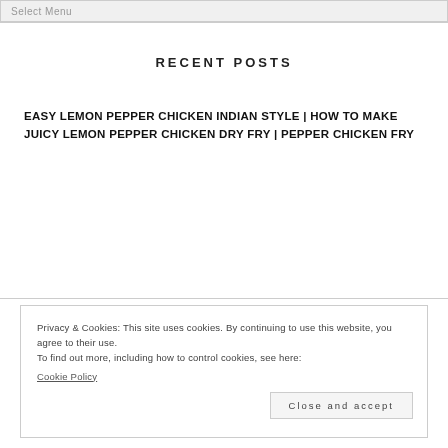Select Menu
RECENT POSTS
EASY LEMON PEPPER CHICKEN INDIAN STYLE | HOW TO MAKE JUICY LEMON PEPPER CHICKEN DRY FRY | PEPPER CHICKEN FRY
Privacy & Cookies: This site uses cookies. By continuing to use this website, you agree to their use.
To find out more, including how to control cookies, see here:
Cookie Policy
Close and accept